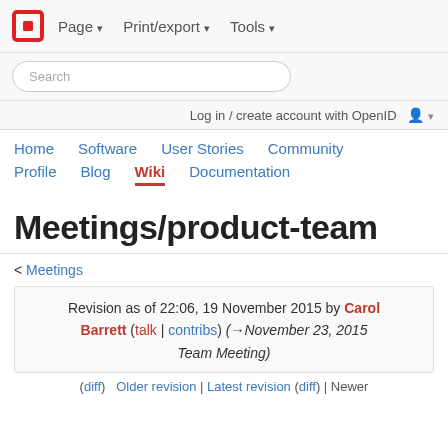Page ▾  Print/export ▾  Tools ▾
Search
Log in / create account with OpenID
Home  Software  User Stories  Community  Profile  Blog  Wiki  Documentation
Meetings/product-team
< Meetings
Revision as of 22:06, 19 November 2015 by Carol Barrett (talk | contribs) (→November 23, 2015 Team Meeting)
(diff)  Older revision | Latest revision (diff) | Newer